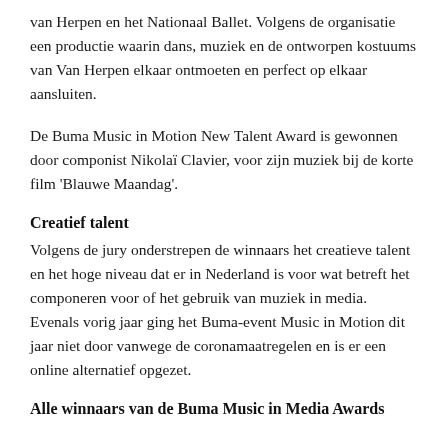van Herpen en het Nationaal Ballet. Volgens de organisatie een productie waarin dans, muziek en de ontworpen kostuums van Van Herpen elkaar ontmoeten en perfect op elkaar aansluiten.
De Buma Music in Motion New Talent Award is gewonnen door componist Nikolaï Clavier, voor zijn muziek bij de korte film 'Blauwe Maandag'.
Creatief talent
Volgens de jury onderstrepen de winnaars het creatieve talent en het hoge niveau dat er in Nederland is voor wat betreft het componeren voor of het gebruik van muziek in media. Evenals vorig jaar ging het Buma-event Music in Motion dit jaar niet door vanwege de coronamaatregelen en is er een online alternatief opgezet.
Alle winnaars van de Buma Music in Media Awards